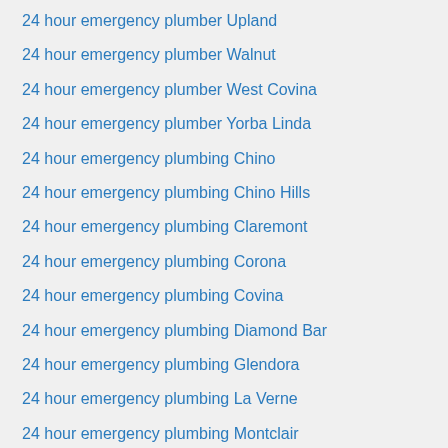24 hour emergency plumber Upland
24 hour emergency plumber Walnut
24 hour emergency plumber West Covina
24 hour emergency plumber Yorba Linda
24 hour emergency plumbing Chino
24 hour emergency plumbing Chino Hills
24 hour emergency plumbing Claremont
24 hour emergency plumbing Corona
24 hour emergency plumbing Covina
24 hour emergency plumbing Diamond Bar
24 hour emergency plumbing Glendora
24 hour emergency plumbing La Verne
24 hour emergency plumbing Montclair
24 hour emergency plumbing Norco